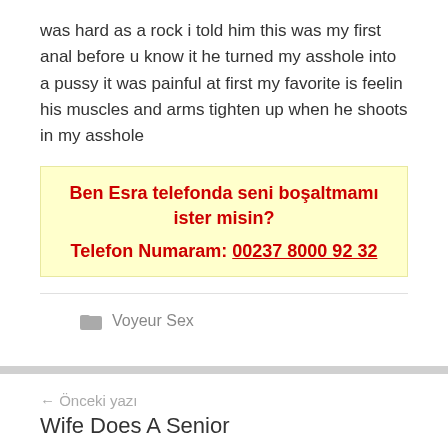was hard as a rock i told him this was my first anal before u know it he turned my asshole into a pussy it was painful at first my favorite is feelin his muscles and arms tighten up when he shoots in my asshole
Ben Esra telefonda seni boşaltmamı ister misin?
Telefon Numaram: 00237 8000 92 32
Voyeur Sex
← Önceki yazı
Wife Does A Senior